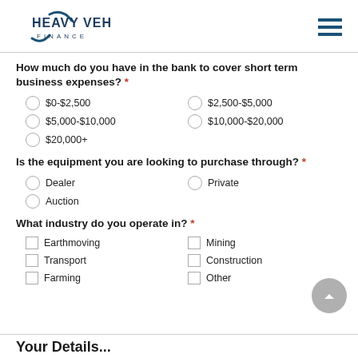Heavy Vehicle Finance
How much do you have in the bank to cover short term business expenses? *
$0-$2,500
$2,500-$5,000
$5,000-$10,000
$10,000-$20,000
$20,000+
Is the equipment you are looking to purchase through? *
Dealer
Private
Auction
What industry do you operate in? *
Earthmoving
Mining
Transport
Construction
Farming
Other
Your Details...